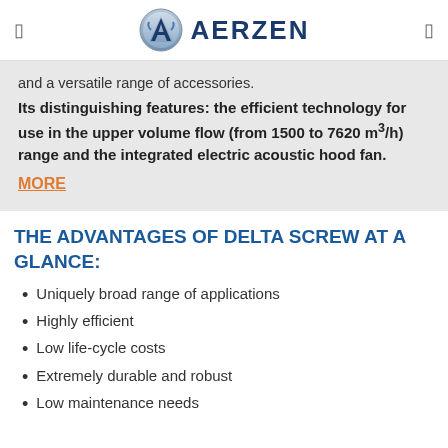AERZEN
and a versatile range of accessories.
Its distinguishing features: the efficient technology for use in the upper volume flow (from 1500 to 7620 m³/h) range and the integrated electric acoustic hood fan.
MORE
THE ADVANTAGES OF DELTA SCREW AT A GLANCE:
Uniquely broad range of applications
Highly efficient
Low life-cycle costs
Extremely durable and robust
Low maintenance needs